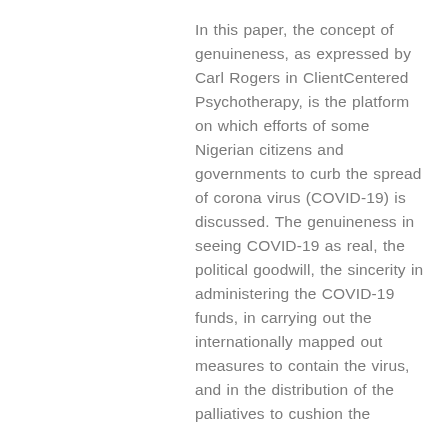In this paper, the concept of genuineness, as expressed by Carl Rogers in ClientCentered Psychotherapy, is the platform on which efforts of some Nigerian citizens and governments to curb the spread of corona virus (COVID-19) is discussed. The genuineness in seeing COVID-19 as real, the political goodwill, the sincerity in administering the COVID-19 funds, in carrying out the internationally mapped out measures to contain the virus, and in the distribution of the palliatives to cushion the